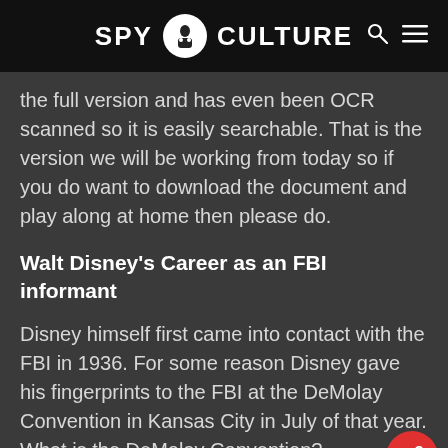SPY CULTURE
the full version and has even been OCR scanned so it is easily searchable. That is the version we will be working from today so if you do want to download the document and play along at home then please do.
Walt Disney's Career as an FBI informant
Disney himself first came into contact with the FBI in 1936. For some reason Disney gave his fingerprints to the FBI at the DeMolay Convention in Kansas City in July of that year. What is the DeMolay Convention?